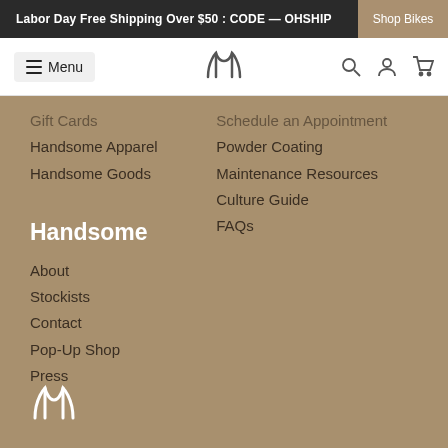Labor Day Free Shipping Over $50 : CODE — OHSHIP
Shop Bikes
Menu
Gift Cards
Handsome Apparel
Handsome Goods
Schedule an Appointment
Powder Coating
Maintenance Resources
Culture Guide
FAQs
Handsome
About
Stockists
Contact
Pop-Up Shop
Press
[Figure (logo): Handsome Cycles logo — stylized HB monogram in white]